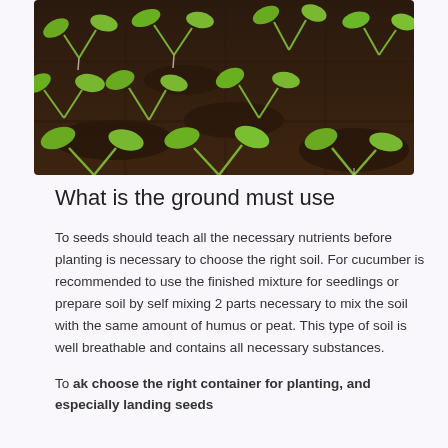[Figure (photo): Close-up photograph of green seedlings sprouting from dark soil in a planting tray, showing multiple small plants with oval cotyledon leaves]
What is the ground must use
To seeds should teach all the necessary nutrients before planting is necessary to choose the right soil. For cucumber is recommended to use the finished mixture for seedlings or prepare soil by self mixing 2 parts necessary to mix the soil with the same amount of humus or peat. This type of soil is well breathable and contains all necessary substances.
To ak choose the right container for planting, and especially landing seeds